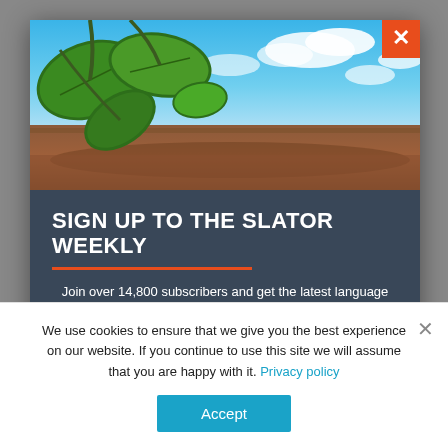[Figure (photo): Tropical scene with large green leaves hanging from a tree in the foreground and a blue sky with white clouds in the background, with a beach/water scene partially visible below]
SIGN UP TO THE SLATOR WEEKLY
Join over 14,800 subscribers and get the latest language industry intelligence every Friday
Email address
We use cookies to ensure that we give you the best experience on our website. If you continue to use this site we will assume that you are happy with it. Privacy policy
Accept